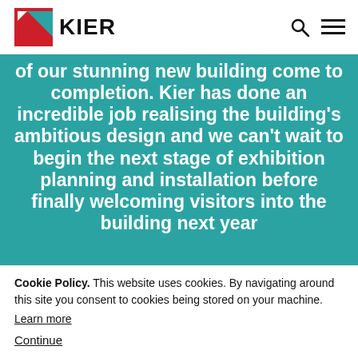[Figure (logo): Kier company logo with red and teal flag icon and bold KIER text]
of our stunning new building come to completion. Kier has done an incredible job realising the building's ambitious design and we can't wait to begin the next stage of exhibition planning and installation before finally welcoming visitors into the building next year
Cookie Policy. This website uses cookies. By navigating around this site you consent to cookies being stored on your machine.
Learn more
Continue